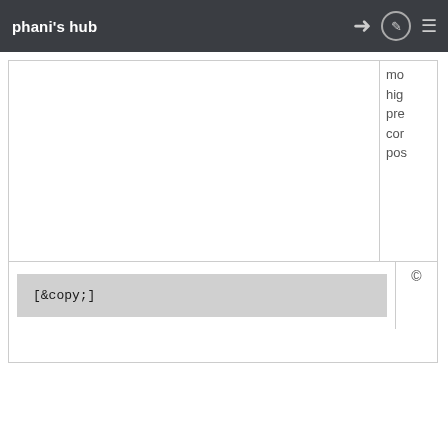phani's hub
mo
high
pre
cor
pos
[&copy;]
©